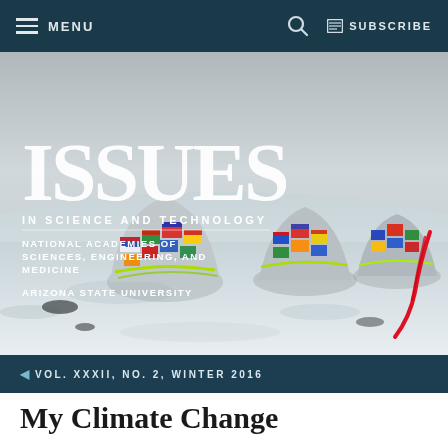MENU  🔍  SUBSCRIBE
[Figure (photo): Cover photo showing colorful dome-shaped tents decorated with national flags arranged on a snowy landscape, with overcast sky. The tents are in the style of igloo-shaped fabric structures. Over the image is overlaid the Issues in Science and Technology magazine logo with text: ISSUES IN SCIENCE AND TECHNOLOGY, NATIONAL ACADEMIES OF SCIENCES, ENGINEERING, AND MEDICINE, ARIZONA STATE UNIVERSITY]
VOL. XXXII, NO. 2, WINTER 2016
My Climate Change